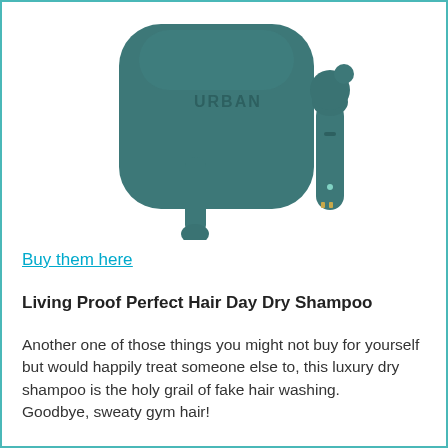[Figure (photo): Teal/dark green Urban Ears wireless earbuds with charging case, one earbud shown outside the case]
Buy them here
Living Proof Perfect Hair Day Dry Shampoo
Another one of those things you might not buy for yourself but would happily treat someone else to, this luxury dry shampoo is the holy grail of fake hair washing.
Goodbye, sweaty gym hair!